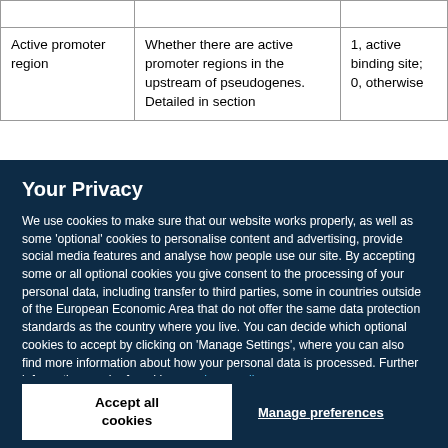|  |  |  |
| Active promoter region | Whether there are active promoter regions in the upstream of pseudogenes. Detailed in section | 1, active binding site; 0, otherwise |
Your Privacy
We use cookies to make sure that our website works properly, as well as some 'optional' cookies to personalise content and advertising, provide social media features and analyse how people use our site. By accepting some or all optional cookies you give consent to the processing of your personal data, including transfer to third parties, some in countries outside of the European Economic Area that do not offer the same data protection standards as the country where you live. You can decide which optional cookies to accept by clicking on 'Manage Settings', where you can also find more information about how your personal data is processed. Further information can be found in our privacy policy.
Accept all cookies
Manage preferences